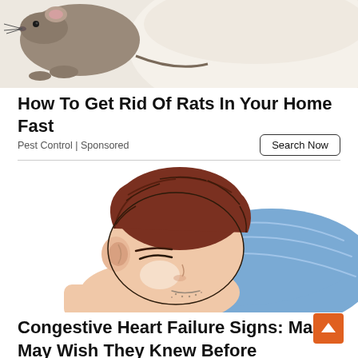[Figure (illustration): Top portion of a rat near a bowl, showing fur and paws against a white/cream bowl background.]
How To Get Rid Of Rats In Your Home Fast
Pest Control | Sponsored
Search Now
[Figure (illustration): Cartoon/illustration of a man with brown hair sleeping face-down on a blue pillow, with a concerned or pained expression.]
Congestive Heart Failure Signs: Many May Wish They Knew Before